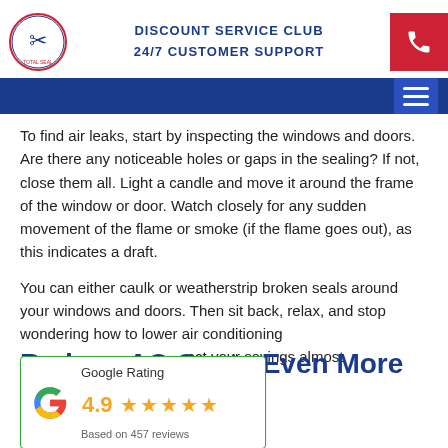DISCOUNT SERVICE CLUB
24/7 CUSTOMER SUPPORT
To find air leaks, start by inspecting the windows and doors. Are there any noticeable holes or gaps in the sealing? If not, close them all. Light a candle and move it around the frame of the window or door. Watch closely for any sudden movement of the flame or smoke (if the flame goes out), as this indicates a draft.
You can either caulk or weatherstrip broken seals around your windows and doors. Then sit back, relax, and stop wondering how to lower air conditioning [costs. You can expect your savings almost]
[Figure (infographic): Google Rating widget showing 4.9 stars based on 457 reviews, with Google 'G' logo in multicolor and 5 orange stars]
Reduce AC Costs Even More With Polar Bear